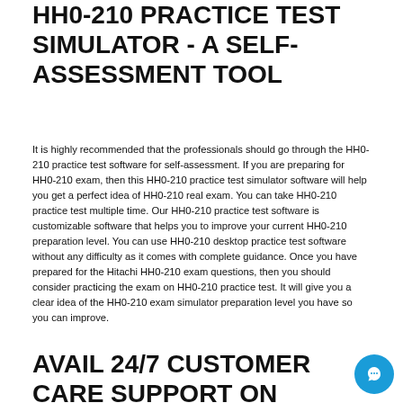HH0-210 PRACTICE TEST SIMULATOR - A SELF-ASSESSMENT TOOL
It is highly recommended that the professionals should go through the HH0-210 practice test software for self-assessment. If you are preparing for HH0-210 exam, then this HH0-210 practice test simulator software will help you get a perfect idea of HH0-210 real exam. You can take HH0-210 practice test multiple time. Our HH0-210 practice test software is customizable software that helps you to improve your current HH0-210 preparation level. You can use HH0-210 desktop practice test software without any difficulty as it comes with complete guidance. Once you have prepared for the Hitachi HH0-210 exam questions, then you should consider practicing the exam on HH0-210 practice test. It will give you a clear idea of the HH0-210 exam simulator preparation level you have so you can improve.
AVAIL 24/7 CUSTOMER CARE SUPPORT ON HH0-210 TEST DUMPS